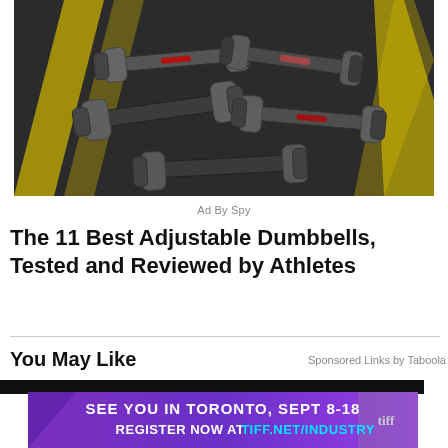[Figure (photo): Overhead view of multiple adjustable dumbbells on a dark surface with yellow/red accent stripes]
Ad By Spy
The 11 Best Adjustable Dumbbells, Tested and Reviewed by Athletes
You May Like
Sponsored Links by Taboola
[Figure (photo): Thumbnail image strip - dark background]
[Figure (photo): TIFF banner ad: SEE YOU IN TORONTO, SEPT 8-18. REGISTER NOW AT TIFF.NET/INDUSTRY]